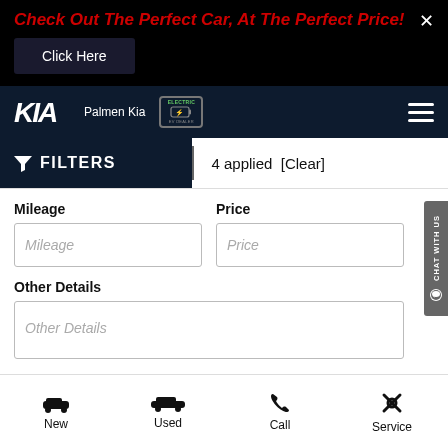Check Out The Perfect Car, At The Perfect Price!
Click Here
[Figure (logo): KIA logo with Palmen Kia dealer name and EV charging badge]
FILTERS  4 applied  [Clear]
Mileage
Price
Other Details
New
Used
Call
Service